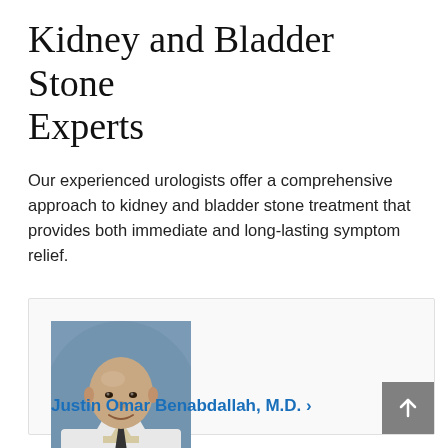Kidney and Bladder Stone Experts
Our experienced urologists offer a comprehensive approach to kidney and bladder stone treatment that provides both immediate and long-lasting symptom relief.
[Figure (photo): Headshot photo of Dr. Justin Omar Benabdallah, M.D., a bald man smiling in a white doctor's coat with a dark tie, against a blue-grey background.]
Justin Omar Benabdallah, M.D. ›